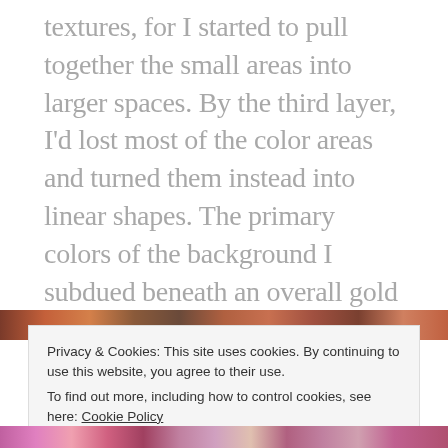textures, for I started to pull together the small areas into larger spaces. By the third layer, I'd lost most of the color areas and turned them instead into linear shapes. The primary colors of the background I subdued beneath an overall gold tone. The lines now are like an automatic writing or glyphic writing, which might be the language spoken either by the trees or the butterflies, or by all natural living beings.
[Figure (photo): Colorful image strip visible at top of lower section]
Privacy & Cookies: This site uses cookies. By continuing to use this website, you agree to their use.
To find out more, including how to control cookies, see here: Cookie Policy
Close and accept
[Figure (photo): Colorful image strip at the bottom of the page]